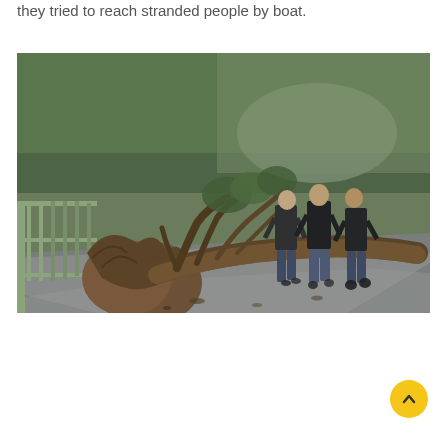they tried to reach stranded people by boat.
[Figure (photo): Three men walking away from camera on a wet road blocked by large fallen trees after a storm, with green forest in the background and a railing on the left side of the road.]